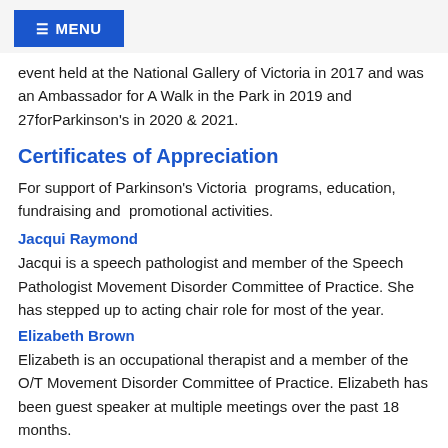≡ MENU
event held at the National Gallery of Victoria in 2017 and was an Ambassador for A Walk in the Park in 2019 and 27forParkinson's in 2020 & 2021.
Certificates of Appreciation
For support of Parkinson's Victoria  programs, education, fundraising and  promotional activities.
Jacqui Raymond
Jacqui is a speech pathologist and member of the Speech Pathologist Movement Disorder Committee of Practice. She has stepped up to acting chair role for most of the year.
Elizabeth Brown
Elizabeth is an occupational therapist and a member of the O/T Movement Disorder Committee of Practice. Elizabeth has been guest speaker at multiple meetings over the past 18 months.